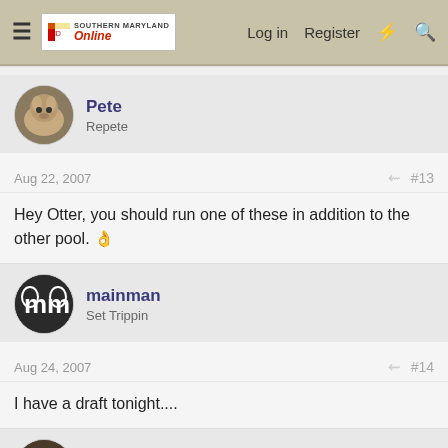Southern Maryland Online — Log in  Register
Pete
Repete
Aug 22, 2007  #13
Hey Otter, you should run one of these in addition to the other pool. 👍
mainman
Set Trippin
Aug 24, 2007  #14
I have a draft tonight....
kom526
They call me ... Sarcasmo